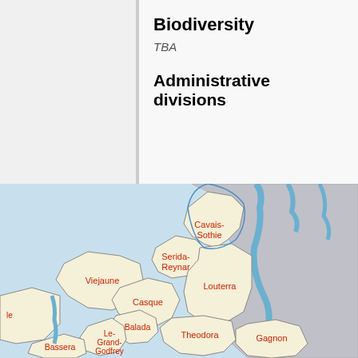Biodiversity
TBA
Administrative divisions
[Figure (map): Administrative divisions map showing regions labeled: Cavais-Sothie, Serida-Reynar, Viejaune, Casque, Balada, Le-Grand-Godfrey, Bassera, Louterra, Theodora, Gagnon. The map shows land regions in pale yellow with blue water bodies and grey neighboring areas.]